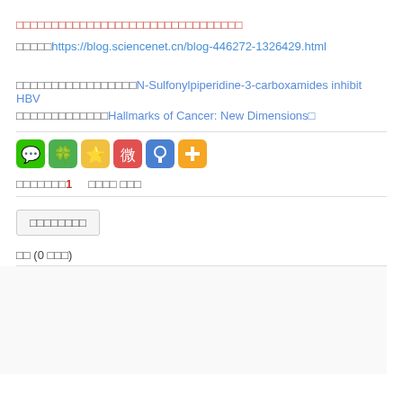□□□□□□□□□□□□□□□□□□□□□□□□□□□□□□□□
□□□□□https://blog.sciencenet.cn/blog-446272-1326429.html
□□□□□□□□□□□□□□□□□N-Sulfonylpiperidine-3-carboxamides inhibit HBV
□□□□□□□□□□□□□Hallmarks of Cancer: New Dimensions□
[Figure (infographic): Row of 6 social share icons: WeChat (green), clover (green), star (yellow), Weibo (red), Pinterest-style (blue), plus (orange)]
□□□□□□□1    □□□□ □□□
□□□□□□□□
□□ (0 □□□)